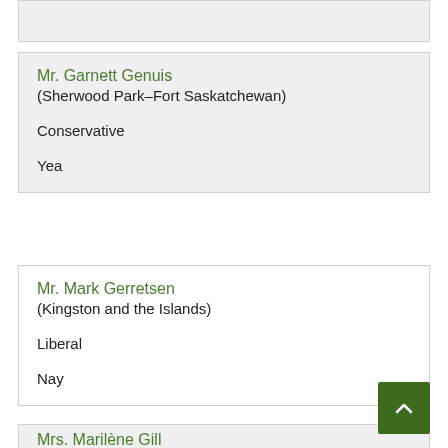Mr. Garnett Genuis (Sherwood Park–Fort Saskatchewan) Conservative Yea
Mr. Mark Gerretsen (Kingston and the Islands) Liberal Nay
Mrs. Marilène Gill